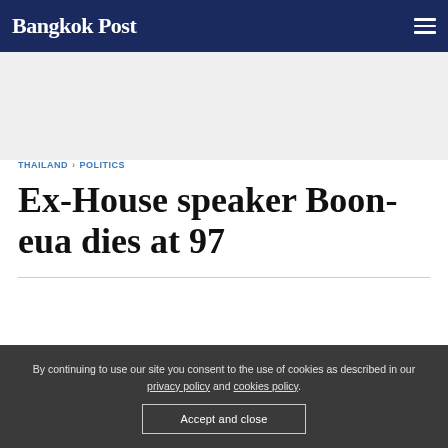Bangkok Post
THAILAND  POLITICS
Ex-House speaker Boon-eua dies at 97
By continuing to use our site you consent to the use of cookies as described in our privacy policy and cookies policy.
Accept and close